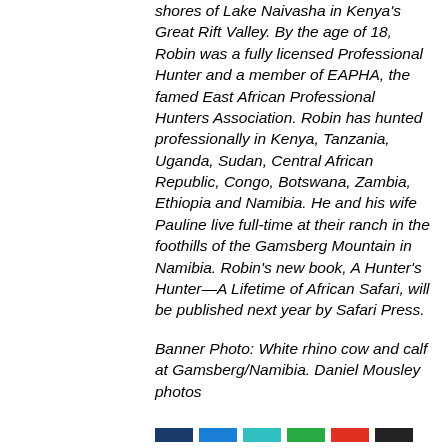shores of Lake Naivasha in Kenya's Great Rift Valley. By the age of 18, Robin was a fully licensed Professional Hunter and a member of EAPHA, the famed East African Professional Hunters Association. Robin has hunted professionally in Kenya, Tanzania, Uganda, Sudan, Central African Republic, Congo, Botswana, Zambia, Ethiopia and Namibia. He and his wife Pauline live full-time at their ranch in the foothills of the Gamsberg Mountain in Namibia. Robin's new book, A Hunter's Hunter—A Lifetime of African Safari, will be published next year by Safari Press.
Banner Photo: White rhino cow and calf at Gamsberg/Namibia. Daniel Mousley photos